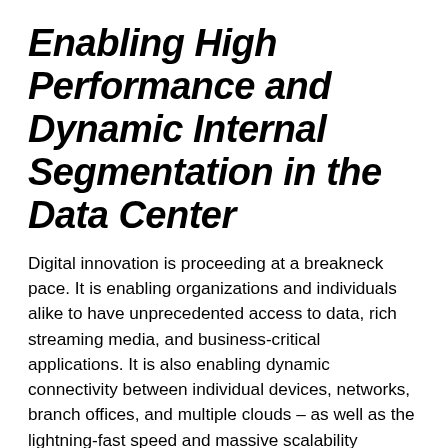Enabling High Performance and Dynamic Internal Segmentation in the Data Center
Digital innovation is proceeding at a breakneck pace. It is enabling organizations and individuals alike to have unprecedented access to data, rich streaming media, and business-critical applications. It is also enabling dynamic connectivity between individual devices, networks, branch offices, and multiple clouds – as well as the lightning-fast speed and massive scalability required by data centers. These massive data center architectures require ever-increasing bandwidth and throughput to support things like